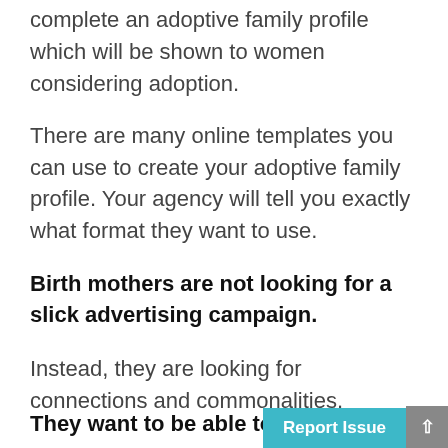complete an adoptive family profile which will be shown to women considering adoption.
There are many online templates you can use to create your adoptive family profile. Your agency will tell you exactly what format they want to use.
Birth mothers are not looking for a slick advertising campaign.
Instead, they are looking for connections and commonalities.
They want to be able to relate to yo